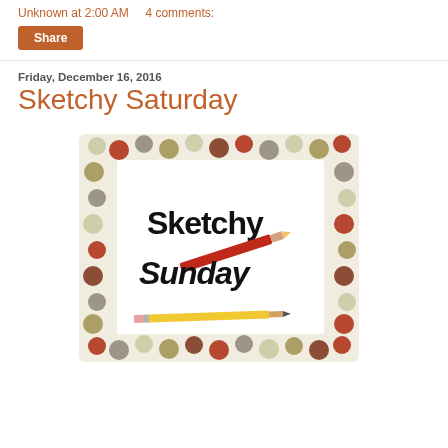Unknown at 2:00 AM    4 comments:
Share
Friday, December 16, 2016
Sketchy Saturday
[Figure (illustration): An illustrated graphic showing a polka-dot bordered frame (dots in red, gray, olive, brown, cream colors) with white interior containing bold text 'Sketchy Sunday', a red pencil diagonal across the text, and a yellow pencil at the bottom.]